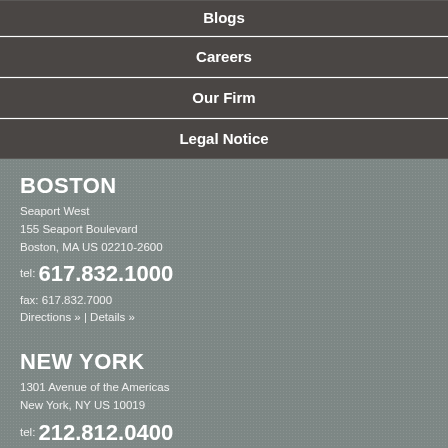Blogs
Careers
Our Firm
Legal Notice
BOSTON
Seaport West
155 Seaport Boulevard
Boston, MA US 02210-2600
tel: 617.832.1000
fax: 617.832.7000
Directions » | Details »
NEW YORK
1301 Avenue of the Americas
New York, NY US 10019
tel: 212.812.0400
fax: 212.812.0399
Directions » | Details »